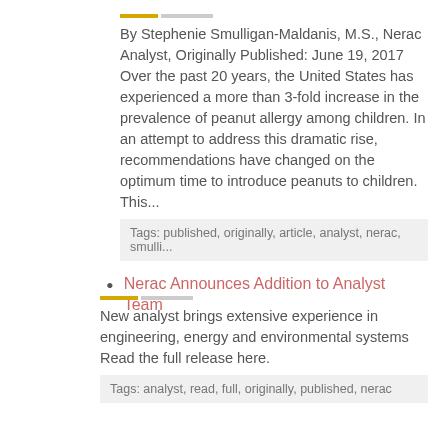By Stephenie Smulligan-Maldanis, M.S., Nerac Analyst, Originally Published: June 19, 2017 Over the past 20 years, the United States has experienced a more than 3-fold increase in the prevalence of peanut allergy among children. In an attempt to address this dramatic rise, recommendations have changed on the optimum time to introduce peanuts to children. This...
Tags: published, originally, article, analyst, nerac, smulli...
Nerac Announces Addition to Analyst Team
New analyst brings extensive experience in engineering, energy and environmental systems Read the full release here.
Tags: analyst, read, full, originally, published, nerac